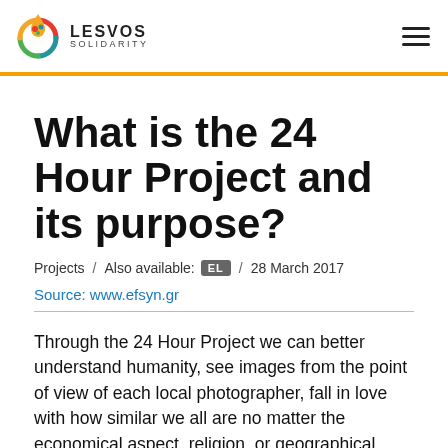Lesvos Solidarity
What is the 24 Hour Project and its purpose?
Projects / Also available: EL / 28 March 2017
Source: www.efsyn.gr
Through the 24 Hour Project we can better understand humanity, see images from the point of view of each local photographer, fall in love with how similar we all are no matter the economical aspect, religion, or geographical